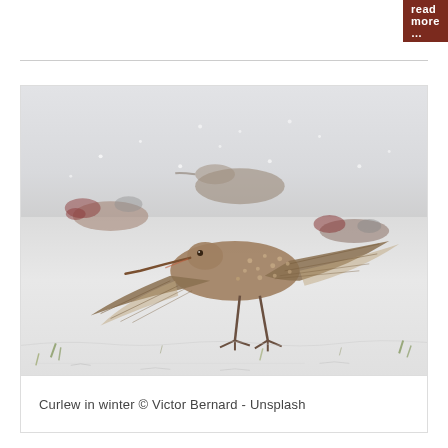read more ...
[Figure (photo): A curlew bird landing on snow-covered ground with wings spread wide, photographed in winter. Several other birds including what appear to be ducks are visible in the blurred background. The scene is set in a snowy field with sparse green grass poking through.]
Curlew in winter © Victor Bernard - Unsplash